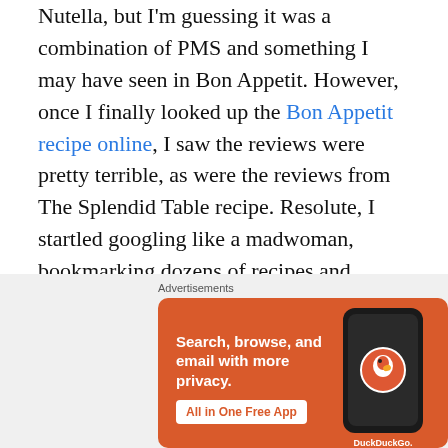Nutella, but I'm guessing it was a combination of PMS and something I may have seen in Bon Appetit. However, once I finally looked up the Bon Appetit recipe online, I saw the reviews were pretty terrible, as were the reviews from The Splendid Table recipe. Resolute, I startled googling like a madwoman, bookmarking dozens of recipes and reviews until my head was spinning. I did not buy these hazelnuts in vain, dammit!

I knew I didn't want additional sugar or heavy cream or powdered milk in my Nutella, three ingredients which appeared frequently. I wanted to make sure it stayed
Advertisements
[Figure (other): DuckDuckGo advertisement banner with orange background. Text reads 'Search, browse, and email with more privacy. All in One Free App'. Shows a smartphone with DuckDuckGo app and DuckDuckGo logo/brand name.]